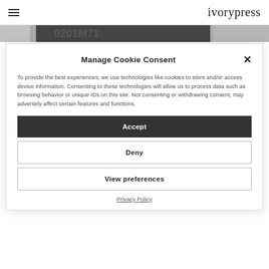ivorypress
[Figure (photo): Black and white cropped image strip showing numbers or street art]
Manage Cookie Consent
To provide the best experiences, we use technologies like cookies to store and/or access device information. Consenting to these technologies will allow us to process data such as browsing behavior or unique IDs on this site. Not consenting or withdrawing consent, may adversely affect certain features and functions.
Accept
Deny
View preferences
Privacy Policy